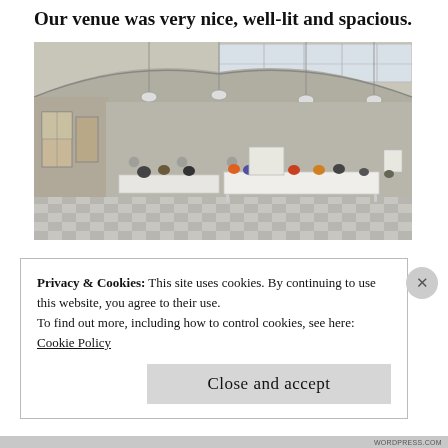Our venue was very nice, well-lit and spacious.
[Figure (photo): Interior photo of a large well-lit spacious venue/hall with arched ceiling, hanging pendant lights, a skylight strip above, and people seated at long white tables in the background. Checkered tile floor visible.]
Privacy & Cookies: This site uses cookies. By continuing to use this website, you agree to their use.
To find out more, including how to control cookies, see here:
Cookie Policy
Close and accept